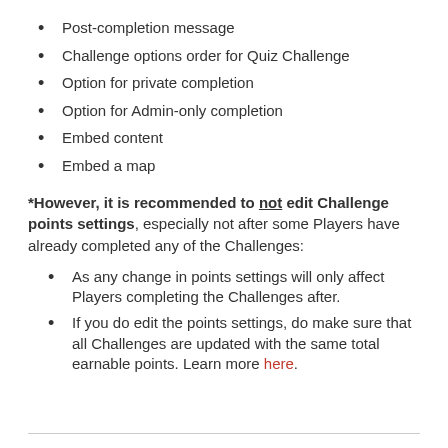Post-completion message
Challenge options order for Quiz Challenge
Option for private completion
Option for Admin-only completion
Embed content
Embed a map
*However, it is recommended to not edit Challenge points settings, especially not after some Players have already completed any of the Challenges:
As any change in points settings will only affect Players completing the Challenges after.
If you do edit the points settings, do make sure that all Challenges are updated with the same total earnable points. Learn more here.